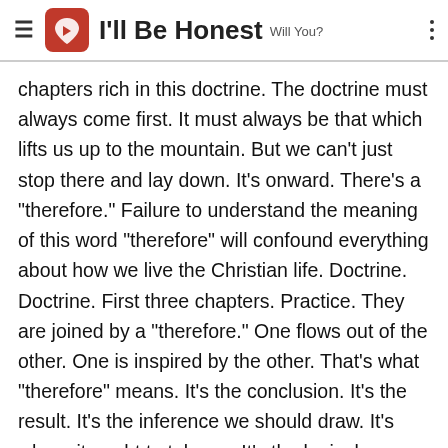I'll Be Honest Will You?
chapters rich in this doctrine. The doctrine must always come first. It must always be that which lifts us up to the mountain. But we can't just stop there and lay down. It's onward. There's a "therefore." Failure to understand the meaning of this word "therefore" will confound everything about how we live the Christian life. Doctrine. Doctrine. First three chapters. Practice. They are joined by a "therefore." One flows out of the other. One is inspired by the other. That's what "therefore" means. It's the conclusion. It's the result. It's the inference we should draw. It's where it ought to take us. It's the logical conclusion. It goes somewhere. Onward. Onward. We can't divide them separate and leave them as two dysfunctional or disconnected parts. They're integral to